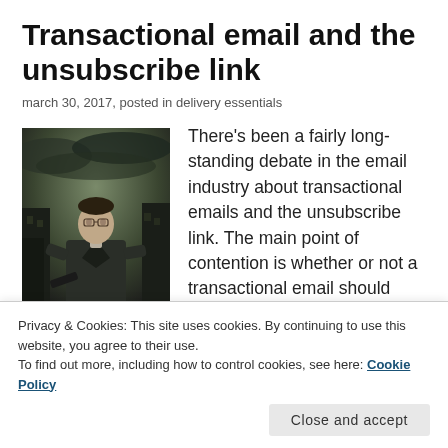Transactional email and the unsubscribe link
march 30, 2017, posted in delivery essentials
[Figure (photo): A stylized photo of a man in a suit holding a weapon, set against a dark urban and cloudy sky background.]
There's been a fairly long-standing debate in the email industry about transactional emails and the unsubscribe link. The main point of contention is whether or not a transactional email should include an unsubscribe link and if so, what
Privacy & Cookies: This site uses cookies. By continuing to use this website, you agree to their use.
To find out more, including how to control cookies, see here: Cookie Policy
Close and accept